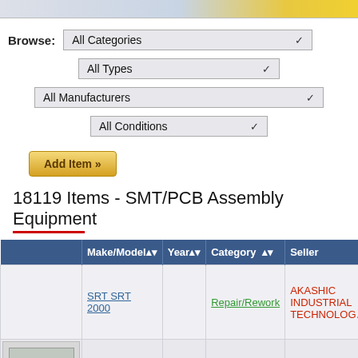[Figure (screenshot): Website header navigation bar with gradient colors]
Browse: All Categories
All Types
All Manufacturers
All Conditions
Add Item »
18119 Items - SMT/PCB Assembly Equipment
|  | Make/Model | Year | Category | Seller |
| --- | --- | --- | --- | --- |
|  | SRT SRT 2000 |  | Repair/Rework | AKASHIC INDUSTRIAL TECHNOLOG... |
| [SP3000 image] |  |  |  |  |